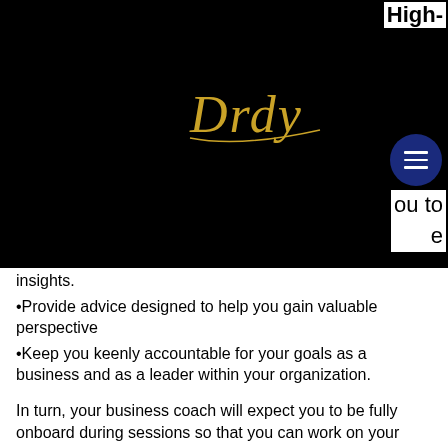[Figure (logo): Dark header bar with gold cursive 'Drdy' logo and dark blue circular hamburger menu icon. Partial text 'High-' visible top right, 'ou to' and 'e' visible lower right of header.]
insights.
Provide advice designed to help you gain valuable perspective
Keep you keenly accountable for your goals as a business and as a leader within your organization.
In turn, your business coach will expect you to be fully onboard during sessions so that you can work on your business rather than in it. A level of self-awareness and Emotional Intelligence is required when working with a coach (in addition to the perspective you bring about your organization).